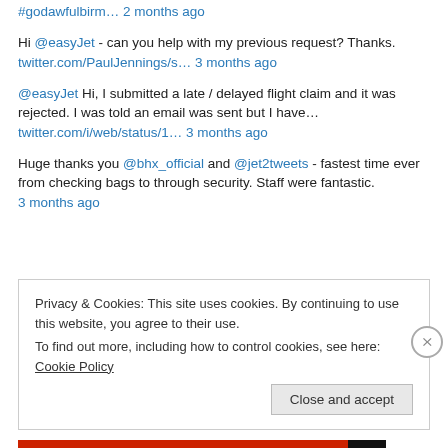#godawfulbirm… 2 months ago
Hi @easyJet - can you help with my previous request? Thanks.
twitter.com/PaulJennings/s… 3 months ago
@easyJet Hi, I submitted a late / delayed flight claim and it was rejected. I was told an email was sent but I have…
twitter.com/i/web/status/1… 3 months ago
Huge thanks you @bhx_official and @jet2tweets - fastest time ever from checking bags to through security. Staff were fantastic.
3 months ago
Privacy & Cookies: This site uses cookies. By continuing to use this website, you agree to their use.
To find out more, including how to control cookies, see here: Cookie Policy
Close and accept